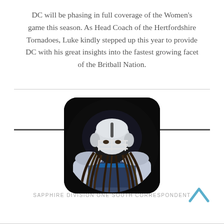DC will be phasing in full coverage of the Women's game this season. As Head Coach of the Hertfordshire Tornadoes, Luke kindly stepped up this year to provide DC with his great insights into the fastest growing facet of the Britball Nation.
[Figure (photo): A female American football player in blue and silver uniform with helmet, posed against a dark background, shown in a circular/rounded square photo frame.]
Affy Afia
SAPPHIRE DIVISION ONE SOUTH CORRESPONDENT